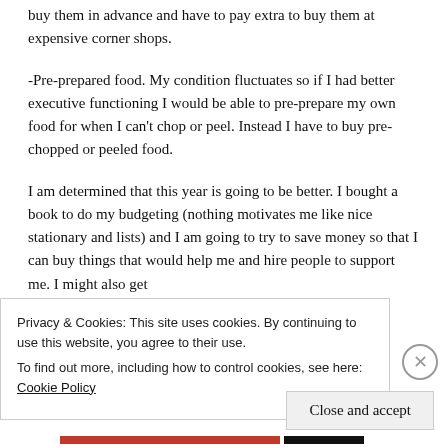buy them in advance and have to pay extra to buy them at expensive corner shops.
-Pre-prepared food. My condition fluctuates so if I had better executive functioning I would be able to pre-prepare my own food for when I can't chop or peel. Instead I have to buy pre-chopped or peeled food.
I am determined that this year is going to be better. I bought a book to do my budgeting (nothing motivates me like nice stationary and lists) and I am going to try to save money so that I can buy things that would help me and hire people to support me. I might also get
Privacy & Cookies: This site uses cookies. By continuing to use this website, you agree to their use.
To find out more, including how to control cookies, see here: Cookie Policy